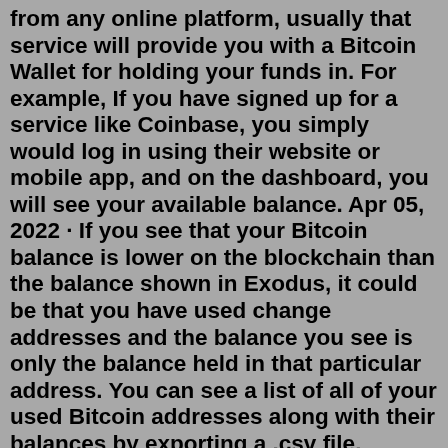from any online platform, usually that service will provide you with a Bitcoin Wallet for holding your funds in. For example, If you have signed up for a service like Coinbase, you simply would log in using their website or mobile app, and on the dashboard, you will see your available balance. Apr 05, 2022 · If you see that your Bitcoin balance is lower on the blockchain than the balance shown in Exodus, it could be that you have used change addresses and the balance you see is only the balance held in that particular address. You can see a list of all of your used Bitcoin addresses along with their balances by exporting a .csv file. Bitcoin Rich List. Since Bitcoin's Blockchain is open for all to explore it's relatively easy to find out what are the addresses that hold the largest amount of Bitcoin. While you won't be able to tell who owns these addresses, you can still view their balance. Top 100 Richest Bitcoin Addresses; Richest Partial Bitcoin Wallets Overview. Create a new wallet for your Bitcoin, or restore an old wallet. All our wallets are fully non-custodial, this means you control